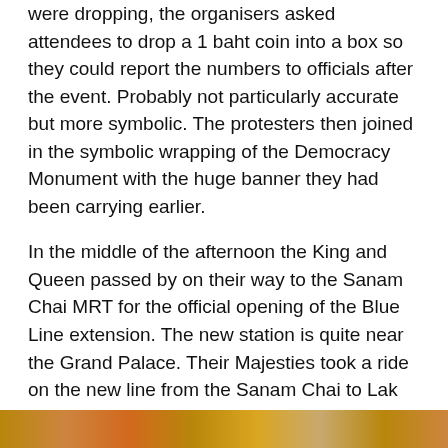were dropping, the organisers asked attendees to drop a 1 baht coin into a box so they could report the numbers to officials after the event. Probably not particularly accurate but more symbolic. The protesters then joined in the symbolic wrapping of the Democracy Monument with the huge banner they had been carrying earlier.

In the middle of the afternoon the King and Queen passed by on their way to the Sanam Chai MRT for the official opening of the Blue Line extension. The new station is quite near the Grand Palace. Their Majesties took a ride on the new line from the Sanam Chai to Lak Song stations, covering a distance of 11 kilometres. Thousands of yellow-clad well-wishers turned up to greet them along the route including some rent-a-crowd supporters bussed in from other provinces.
[Figure (photo): A partial image strip at the bottom of the page showing a crowd scene with warm golden/brown tones.]